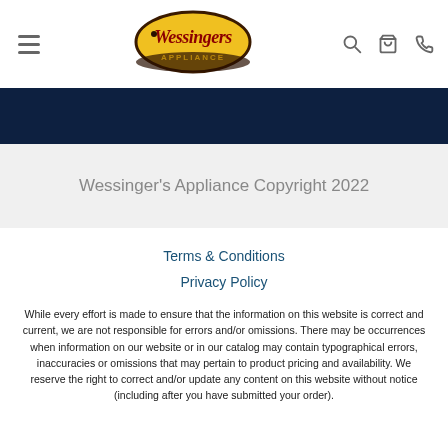Wessinger's Appliance — navigation header with logo, hamburger menu, search, cart, and phone icons
[Figure (logo): Wessinger's Appliance oval logo with yellow background and red script text]
Wessinger's Appliance Copyright 2022
Terms & Conditions
Privacy Policy
While every effort is made to ensure that the information on this website is correct and current, we are not responsible for errors and/or omissions. There may be occurrences when information on our website or in our catalog may contain typographical errors, inaccuracies or omissions that may pertain to product pricing and availability. We reserve the right to correct and/or update any content on this website without notice (including after you have submitted your order).